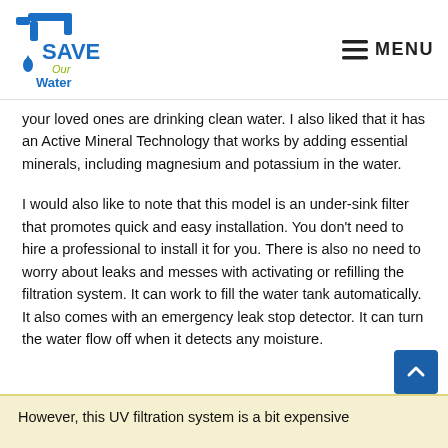Save Our Water — MENU
your loved ones are drinking clean water. I also liked that it has an Active Mineral Technology that works by adding essential minerals, including magnesium and potassium in the water.
I would also like to note that this model is an under-sink filter that promotes quick and easy installation. You don't need to hire a professional to install it for you. There is also no need to worry about leaks and messes with activating or refilling the filtration system. It can work to fill the water tank automatically. It also comes with an emergency leak stop detector. It can turn the water flow off when it detects any moisture.
However, this UV filtration system is a bit expensive